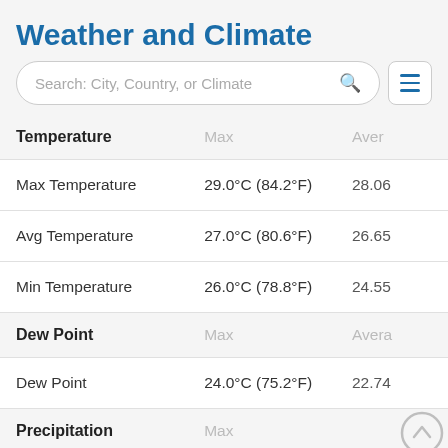Weather and Climate
[Figure (screenshot): Search bar with placeholder 'Search: City, Country, or Climate' and a hamburger menu icon]
| Temperature | Max | Aver |
| --- | --- | --- |
| Max Temperature | 29.0°C (84.2°F) | 28.06 |
| Avg Temperature | 27.0°C (80.6°F) | 26.65 |
| Min Temperature | 26.0°C (78.8°F) | 24.55 |
| Dew Point (header) | Max | Avera |
| Dew Point | 24.0°C (75.2°F) | 22.74 |
| Precipitation (header) | Max |  |
| Precipitation | 54.2mm | 2.13in | 9.45m |